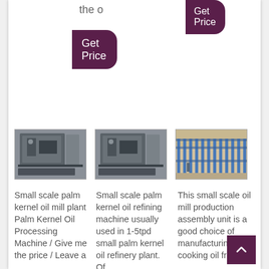the o
[Figure (other): Get Price button - dark purple rounded rectangle button with white text]
[Figure (other): Get Price button - dark purple rounded rectangle button with white text (top right)]
[Figure (photo): Small scale palm kernel oil mill machine photo 1]
[Figure (photo): Small scale palm kernel oil mill machine photo 2]
[Figure (photo): Small scale oil mill production assembly unit factory photo]
Small scale palm kernel oil mill plant Palm Kernel Oil Processing Machine / Give me the price / Leave a
Small scale palm kernel oil refining machine usually used in 1-5tpd small palm kernel oil refinery plant. Of
This small scale oil mill production assembly unit is a good choice of manufacturing cooking oil from